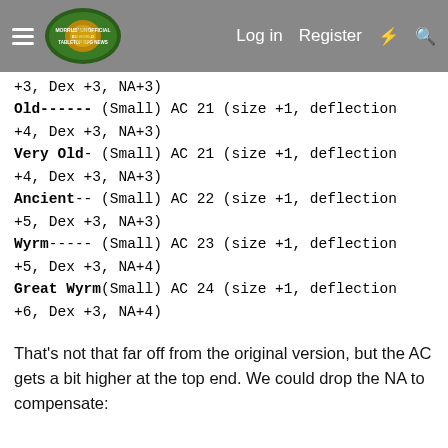Morrus' Unofficial Tabletop RPG News — Log in  Register
+3, Dex +3, NA+3)
Old------ (Small) AC 21 (size +1, deflection +4, Dex +3, NA+3)
Very Old- (Small) AC 21 (size +1, deflection +4, Dex +3, NA+3)
Ancient-- (Small) AC 22 (size +1, deflection +5, Dex +3, NA+3)
Wyrm----- (Small) AC 23 (size +1, deflection +5, Dex +3, NA+4)
Great Wyrm(Small) AC 24 (size +1, deflection +6, Dex +3, NA+4)
That's not that far off from the original version, but the AC gets a bit higher at the top end. We could drop the NA to compensate: